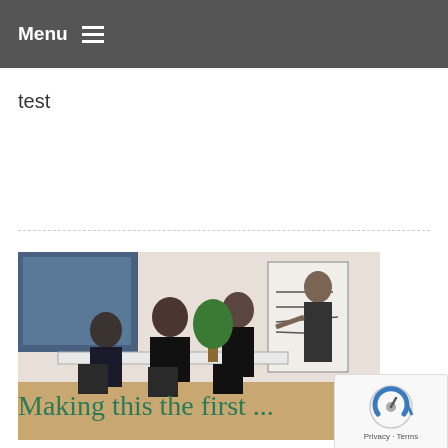Menu ☰
test
[Figure (photo): Business meeting scene: four people seated and standing around a conference table, one person writing on a whiteboard/flipchart in the background, indoor office setting with window.]
Making this the first ...